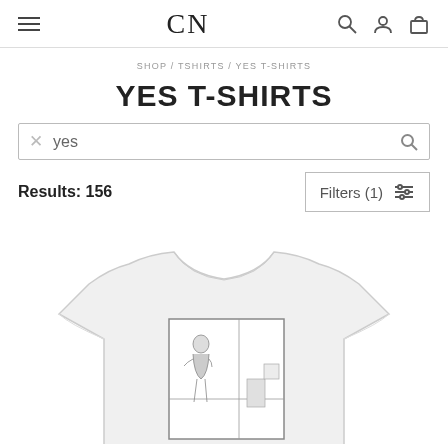CN
SHOP / TSHIRTS / YES T-SHIRTS
YES T-SHIRTS
yes
Results: 156
Filters (1)
[Figure (photo): White t-shirt with a New Yorker cartoon printed on the front showing a person looking in a mirror]